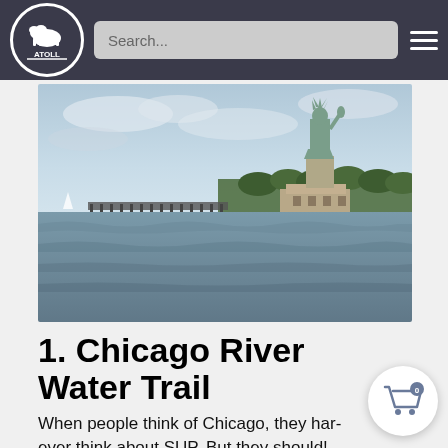ATOLL - Search bar and navigation menu
[Figure (photo): View from water showing the Statue of Liberty on the right side, with a pier/dock structure in the middle distance, and open water in the foreground under a cloudy sky with trees in the background.]
1. Chicago River Water Trail
When people think of Chicago, they hard ever think about SUP. But they should!